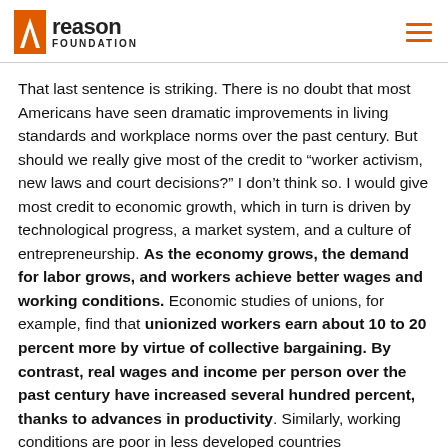Reason Foundation
That last sentence is striking. There is no doubt that most Americans have seen dramatic improvements in living standards and workplace norms over the past century. But should we really give most of the credit to “worker activism, new laws and court decisions?” I don’t think so. I would give most credit to economic growth, which in turn is driven by technological progress, a market system, and a culture of entrepreneurship. As the economy grows, the demand for labor grows, and workers achieve better wages and working conditions. Economic studies of unions, for example, find that unionized workers earn about 10 to 20 percent more by virtue of collective bargaining. By contrast, real wages and income per person over the past century have increased several hundred percent, thanks to advances in productivity. Similarly, working conditions are poor in less developed countries